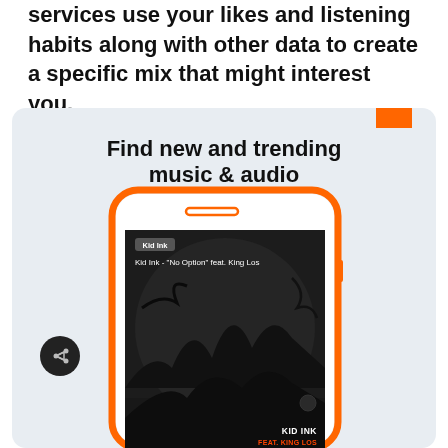services use your likes and listening habits along with other data to create a specific mix that might interest you.
[Figure (screenshot): Mobile app screenshot mockup showing 'Find new and trending music & audio' feature with an orange-bordered phone displaying Kid Ink - 'No Option' feat. King Los album art on a dark background]